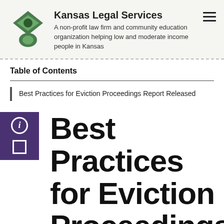Kansas Legal Services — A non-profit law firm and community education organization helping low and moderate income people in Kansas
Table of Contents
Best Practices for Eviction Proceedings Report Released
Best Practices for Eviction Proceedings Report Released